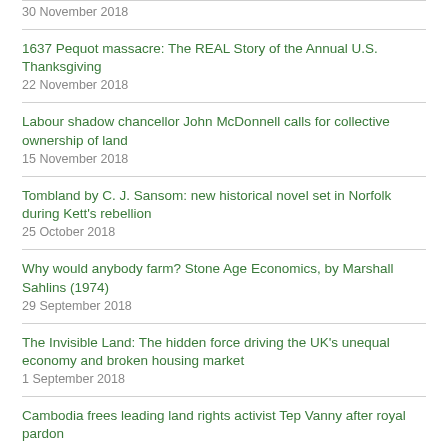30 November 2018
1637 Pequot massacre: The REAL Story of the Annual U.S. Thanksgiving
22 November 2018
Labour shadow chancellor John McDonnell calls for collective ownership of land
15 November 2018
Tombland by C. J. Sansom: new historical novel set in Norfolk during Kett's rebellion
25 October 2018
Why would anybody farm? Stone Age Economics, by Marshall Sahlins (1974)
29 September 2018
The Invisible Land: The hidden force driving the UK's unequal economy and broken housing market
1 September 2018
Cambodia frees leading land rights activist Tep Vanny after royal pardon
31 August 2018